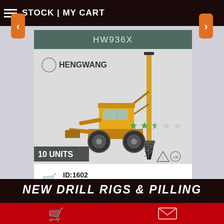STOCK | MY CART
HW936X
[Figure (photo): Hengwang HW936X drill rig machine — yellow wheeled vehicle with tall vertical drilling attachment, Hengwang brand logo in top-left, star rating (2.5 out of 5 green stars), certification logos (triangle warning, circle CE mark), '10 UNITS' badge bottom left]
ID:1602
Manufactured by: Shandong Hengwang Group MORE INFO
NEW DRILL RIGS & PILLING